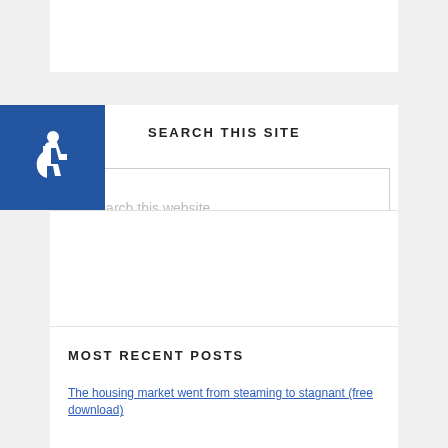[Figure (logo): Blue square accessibility wheelchair icon]
SEARCH THIS SITE
Search this website
MOST RECENT POSTS
The housing market went from steaming to stagnant (free download)